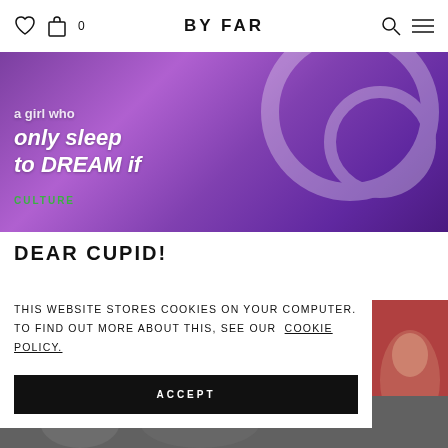BY FAR — navigation header with heart icon, bag icon (0), search icon, and menu icon
[Figure (photo): Purple-toned hero image with white handwritten script text reading 'a girl who only sleep to dream if' and a green 'CULTURE' tag in the lower left]
DEAR CUPID!
THIS WEBSITE STORES COOKIES ON YOUR COMPUTER. TO FIND OUT MORE ABOUT THIS, SEE OUR COOKIE POLICY.
ACCEPT
[Figure (photo): Partial side image of a woman wearing dark red accessories]
[Figure (photo): Bottom strip showing partial image]